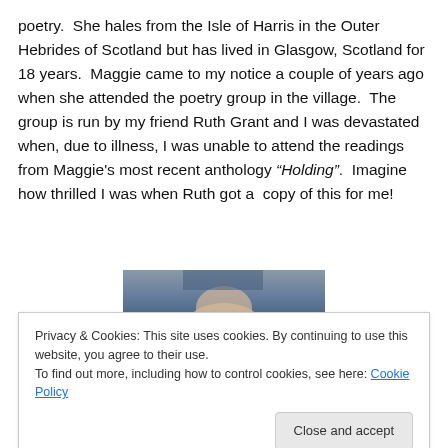poetry.  She hales from the Isle of Harris in the Outer Hebrides of Scotland but has lived in Glasgow, Scotland for 18 years.  Maggie came to my notice a couple of years ago when she attended the poetry group in the village.  The group is run by my friend Ruth Grant and I was devastated when, due to illness, I was unable to attend the readings from Maggie's most recent anthology "Holding".  Imagine how thrilled I was when Ruth got a  copy of this for me!
[Figure (photo): Partial photo of a person, cropped at top and bottom by cookie consent banner overlay]
Privacy & Cookies: This site uses cookies. By continuing to use this website, you agree to their use.
To find out more, including how to control cookies, see here: Cookie Policy
Close and accept